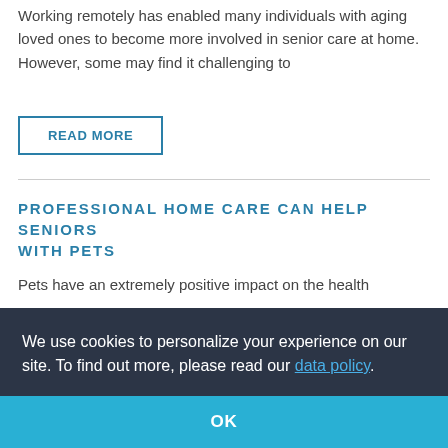Working remotely has enabled many individuals with aging loved ones to become more involved in senior care at home. However, some may find it challenging to
READ MORE
PROFESSIONAL HOME CARE CAN HELP SENIORS WITH PETS
Pets have an extremely positive impact on the health
We use cookies to personalize your experience on our site. To find out more, please read our data policy.
OK